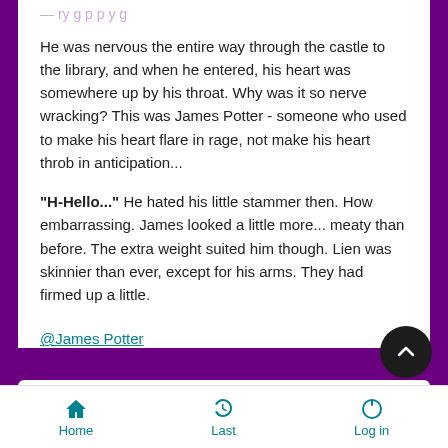He was nervous the entire way through the castle to the library, and when he entered, his heart was somewhere up by his throat. Why was it so nerve wracking? This was James Potter - someone who used to make his heart flare in rage, not make his heart throb in anticipation...
"H-Hello..." He hated his little stammer then. How embarrassing. James looked a little more... meaty than before. The extra weight suited him though. Lien was skinnier than ever, except for his arms. They had firmed up a little.
@James Potter
Like  Dislike
by Sponsored content
Home  Last  Log in